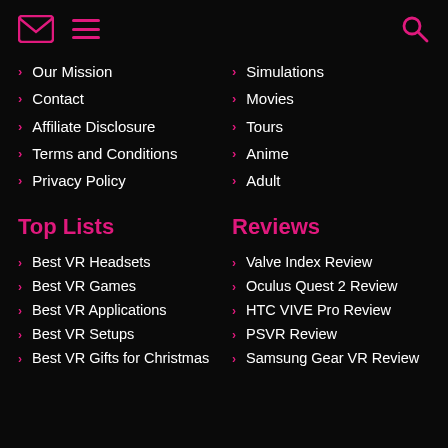envelope icon, menu icon, search icon
Our Mission
Contact
Affiliate Disclosure
Terms and Conditions
Privacy Policy
Simulations
Movies
Tours
Anime
Adult
Top Lists
Reviews
Best VR Headsets
Best VR Games
Best VR Applications
Best VR Setups
Best VR Gifts for Christmas
Valve Index Review
Oculus Quest 2 Review
HTC VIVE Pro Review
PSVR Review
Samsung Gear VR Review